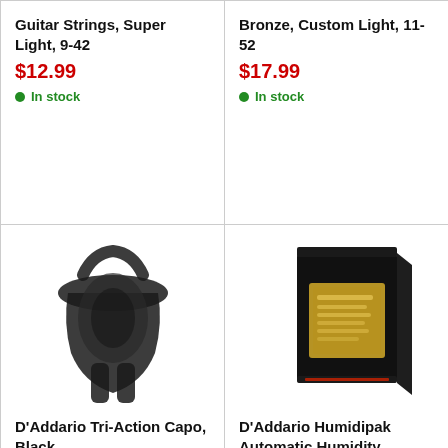Guitar Strings, Super Light, 9-42
$12.99
In stock
Bronze, Custom Light, 11-52
$17.99
In stock
[Figure (photo): D'Addario Tri-Action Capo in black metal, shown against white background]
D'Addario Tri-Action Capo, Black
$21.99
[Figure (photo): D'Addario Humidipak Automatic Humidity Control System product box, black with gold label]
D'Addario Humidipak Automatic Humidity Control System
$24.99